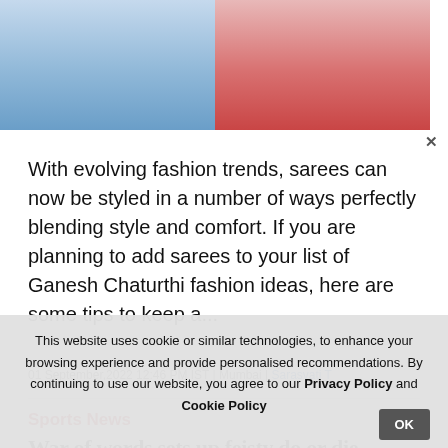[Figure (photo): Split fashion image: left half blue tones (saree/Indian fashion), right half red/pink tones with fabric]
With evolving fashion trends, sarees can now be styled in a number of ways perfectly blending style and comfort. If you are planning to add sarees to your list of Ganesh Chaturthi fashion ideas, here are some tips to keep a...
01 September,2022 12:46 PM IST | Mumbai | Sarasvati T
Sports News
War of words sets up feisty do or die contest between Sri Lanka and Bangladesh
[Figure (photo): Sports photo showing cricket fans or players, green and red tones with raised fists]
This website uses cookie or similar technologies, to enhance your browsing experience and provide personalised recommendations. By continuing to use our website, you agree to our Privacy Policy and Cookie Policy